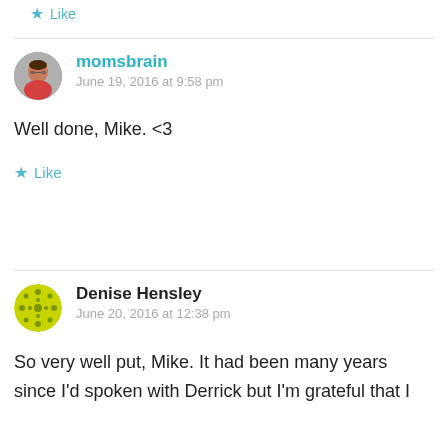Like
momsbrain
June 19, 2016 at 9:58 pm
Well done, Mike. <3
Like
Denise Hensley
June 20, 2016 at 12:38 pm
So very well put, Mike. It had been many years since I'd spoken with Derrick but I'm grateful that I